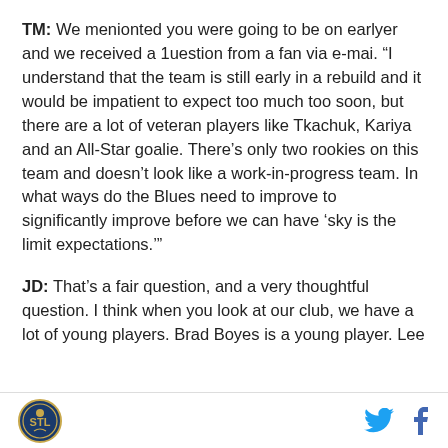TM: We menionted you were going to be on earlyer and we received a 1uestion from a fan via e-mai. “I understand that the team is still early in a rebuild and it would be impatient to expect too much too soon, but there are a lot of veteran players like Tkachuk, Kariya and an All-Star goalie. There’s only two rookies on this team and doesn’t look like a work-in-progress team. In what ways do the Blues need to improve to significantly improve before we can have ‘sky is the limit expectations.’”
JD: That’s a fair question, and a very thoughtful question. I think when you look at our club, we have a lot of young players. Brad Boyes is a young player. Lee